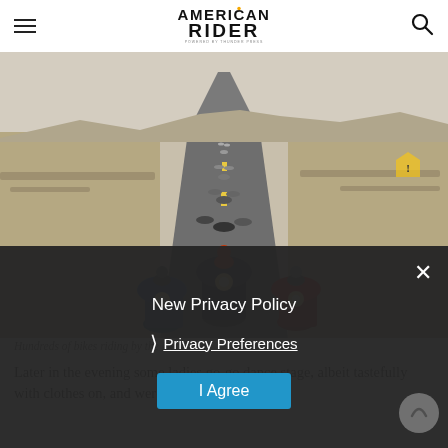American Rider (powered by Thunder Press)
[Figure (photo): A long column of motorcyclists riding together on a desert highway by the Dead Sea, viewed head-on with the lead riders prominent in the foreground.]
Hundreds of bikes riding by the Dead Sea
Later in the evening some ladies go-go dance stage, albeit tastefully with clothes on, and were foll
New Privacy Policy
Privacy Preferences
I Agree